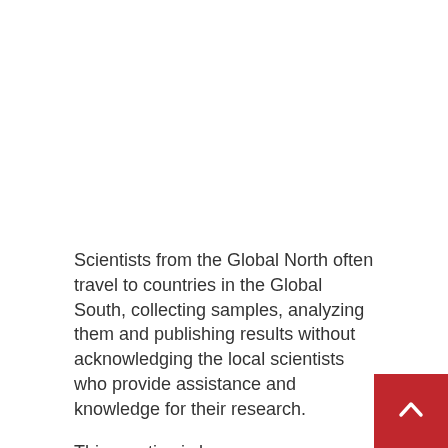Scientists from the Global North often travel to countries in the Global South, collecting samples, analyzing them and publishing results without acknowledging the local scientists who provide assistance and knowledge for their research.
This practice is known as “helicopter research” and considered a “way to perpetuate colonial practices,” according to an article published in Computational Biology PLOS